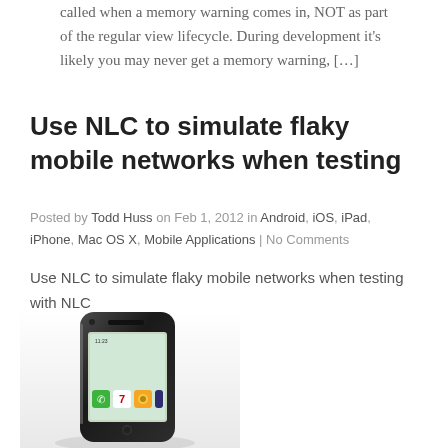called when a memory warning comes in, NOT as part of the regular view lifecycle. During development it's likely you may never get a memory warning, […]
Use NLC to simulate flaky mobile networks when testing
Posted by Todd Huss on Feb 1, 2012 in Android, iOS, iPad, iPhone, Mac OS X, Mobile Applications | No Comments
Use NLC to simulate flaky mobile networks when testing with NLC
[Figure (photo): Photo of a black iPhone/smartphone with app icons visible on the screen, shown at an angle]